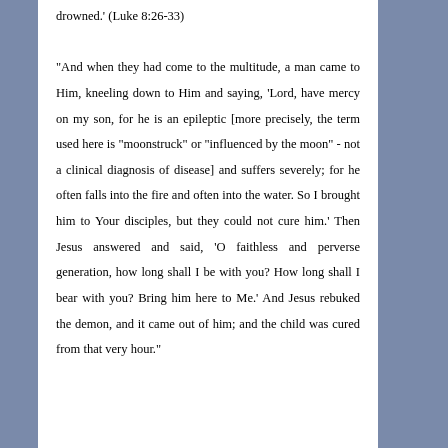drowned.' (Luke 8:26-33) "And when they had come to the multitude, a man came to Him, kneeling down to Him and saying, 'Lord, have mercy on my son, for he is an epileptic [more precisely, the term used here is "moonstruck" or "influenced by the moon" - not a clinical diagnosis of disease] and suffers severely; for he often falls into the fire and often into the water. So I brought him to Your disciples, but they could not cure him.' Then Jesus answered and said, 'O faithless and perverse generation, how long shall I be with you? How long shall I bear with you? Bring him here to Me.' And Jesus rebuked the demon, and it came out of him; and the child was cured from that very hour."